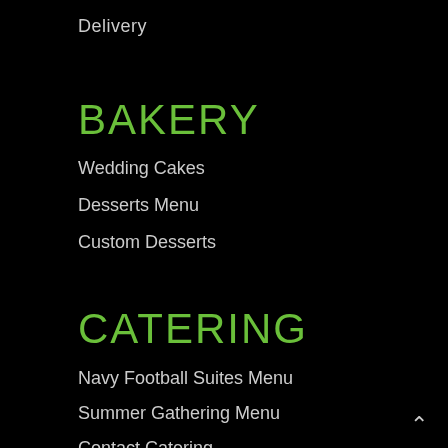Delivery
BAKERY
Wedding Cakes
Desserts Menu
Custom Desserts
CATERING
Navy Football Suites Menu
Summer Gathering Menu
Contact Catering